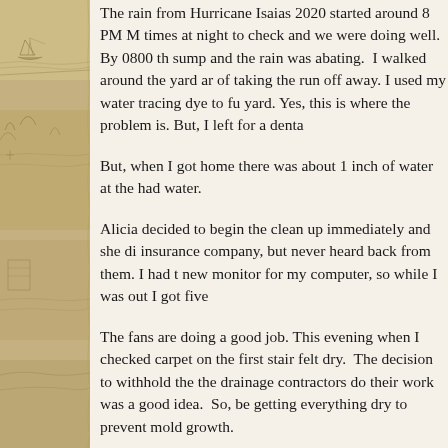The rain from Hurricane Isaias 2020 started around 8 PM M times at night to check and we were doing well. By 0800 th sump and the rain was abating. I walked around the yard ar of taking the run off away. I used my water tracing dye to fu yard. Yes, this is where the problem is. But, I left for a denta
But, when I got home there was about 1 inch of water at the had water.
Alicia decided to begin the clean up immediately and she di insurance company, but never heard back from them. I had t new monitor for my computer, so while I was out I got five
The fans are doing a good job. This evening when I checked carpet on the first stair felt dry. The decision to withhold the the drainage contractors do their work was a good idea. So, be getting everything dry to prevent mold growth.
I heard an interesting bit of news today. Many citizens in the recently. Some of them took it upon themselves to enter the reportedly found evidence that the sewers are not being mai